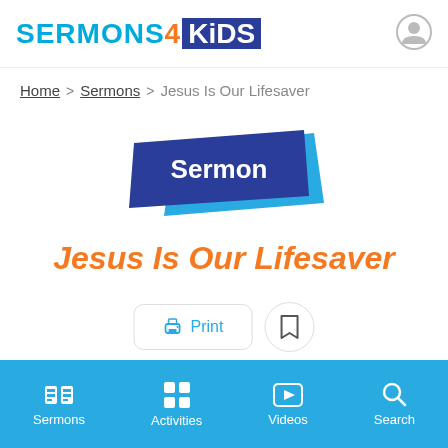[Figure (logo): Sermons4Kids logo with blue SERMONS, orange 4, and white KIDS on dark blue background]
Home > Sermons > Jesus Is Our Lifesaver
[Figure (illustration): Dark blue sermon badge/banner graphic with light blue shadow and white text 'Sermon']
Jesus Is Our Lifesaver
[Figure (infographic): Print button with printer icon and Bookmark button as circle with bookmark icon]
[Figure (infographic): Bottom navigation bar with Sermons, Activities, Videos, Search icons on blue background]